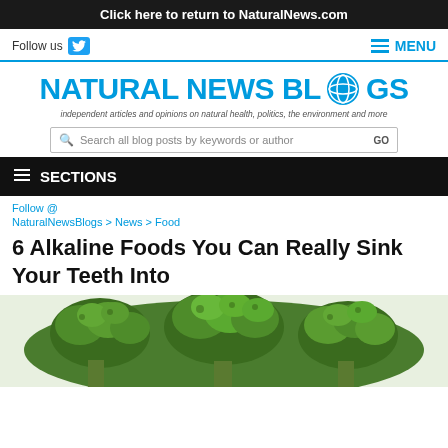Click here to return to NaturalNews.com
Follow us  ≡ MENU
[Figure (logo): Natural News Blogs logo with globe icon and tagline: independent articles and opinions on natural health, politics, the environment and more]
Search all blog posts by keywords or author  GO
≡ SECTIONS
Follow @
NaturalNewsBlogs > News > Food
6 Alkaline Foods You Can Really Sink Your Teeth Into
[Figure (photo): Photo of fresh green broccoli florets on white background]